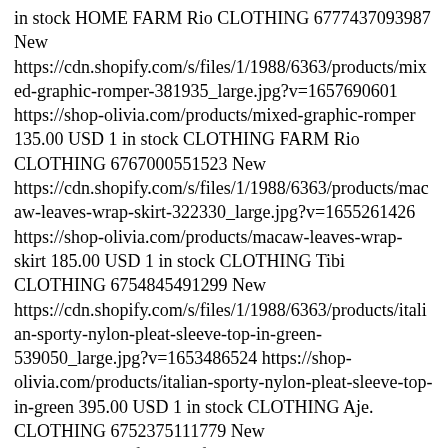in stock HOME FARM Rio CLOTHING 6777437093987 New https://cdn.shopify.com/s/files/1/1988/6363/products/mixed-graphic-romper-381935_large.jpg?v=1657690601 https://shop-olivia.com/products/mixed-graphic-romper 135.00 USD 1 in stock CLOTHING FARM Rio CLOTHING 6767000551523 New https://cdn.shopify.com/s/files/1/1988/6363/products/macaw-leaves-wrap-skirt-322330_large.jpg?v=1655261426 https://shop-olivia.com/products/macaw-leaves-wrap-skirt 185.00 USD 1 in stock CLOTHING Tibi CLOTHING 6754845491299 New https://cdn.shopify.com/s/files/1/1988/6363/products/italian-sporty-nylon-pleat-sleeve-top-in-green-539050_large.jpg?v=1653486524 https://shop-olivia.com/products/italian-sporty-nylon-pleat-sleeve-top-in-green 395.00 USD 1 in stock CLOTHING Aje. CLOTHING 6752375111779 New https://cdn.shopify.com/s/files/1/1988/6363/products/admiration-bow-back-blouse-in-magenta-284580_large.jpg?v=1652857939 https://shop-olivia.com/products/admiration-bow-back-blouse-in-magenta 165.00 USD 1 in stock CLOTHING Gia Borghini SHOES 6748372533347 New https://cdn.shopify.com/s/files/1/1988/6363/products/perni-pointed-toe-mule-in-mud-105507_large.jpg?v=1651873738 https://shop-olivia.com/products/perni-pointed-toe-mule-in-mud 395.00 USD 1 in stock SHOES Vince. CLOTHING 6739266830435 New https://cdn.shopify.com/s/files/1/1988/6363/products/wide-rib-